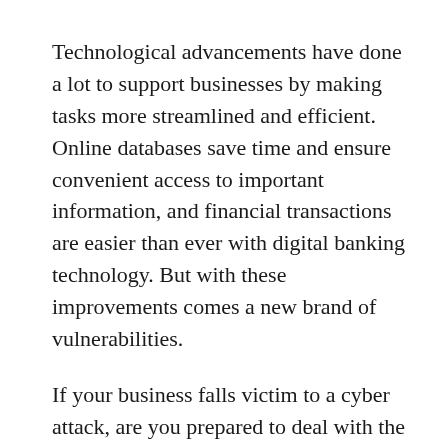Technological advancements have done a lot to support businesses by making tasks more streamlined and efficient. Online databases save time and ensure convenient access to important information, and financial transactions are easier than ever with digital banking technology. But with these improvements comes a new brand of vulnerabilities.
If your business falls victim to a cyber attack, are you prepared to deal with the aftermath? If all you have is general commercial liability insurance, then unfortunately, it will offer little to no protection against damage inflicted digitally.